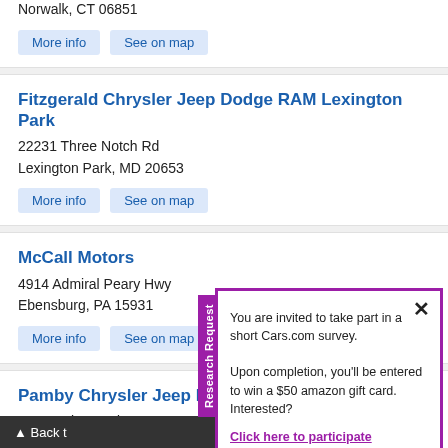Norwalk, CT 06851
More info | See on map
Fitzgerald Chrysler Jeep Dodge RAM Lexington Park
22231 Three Notch Rd
Lexington Park, MD 20653
More info | See on map
McCall Motors
4914 Admiral Peary Hwy
Ebensburg, PA 15931
More info | See on map
Pamby Chrysler Jeep Dodge
665 Danbury Rd # 7
Ridgefield, CT 06877
You are invited to take part in a short Cars.com survey.

Upon completion, you'll be entered to win a $50 amazon gift card. Interested?
Click here to participate